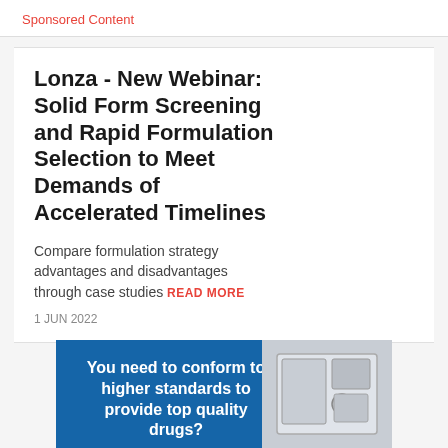Sponsored Content
Lonza - New Webinar: Solid Form Screening and Rapid Formulation Selection to Meet Demands of Accelerated Timelines
Compare formulation strategy advantages and disadvantages through case studies READ MORE
1 JUN 2022
[Figure (photo): Advertisement banner with blue background showing text 'You need to conform to higher standards to provide top quality drugs?' with an image of pharmaceutical equipment on the right side]